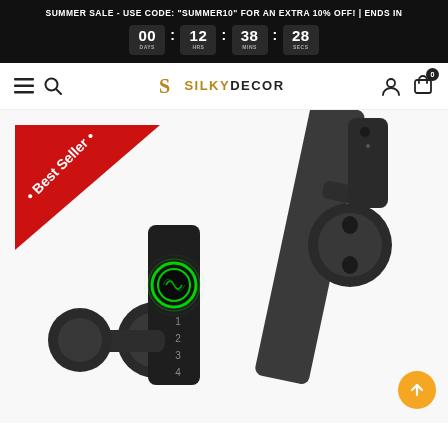SUMMER SALE - USE CODE: "SUMMER10" FOR AN EXTRA 10% OFF! | ENDS IN
00 DAYS  12 HRS  38 MINS  28 SECS
[Figure (screenshot): SilkyDecor e-commerce website navigation bar with hamburger menu, search icon, SilkyDecor logo in gold/black, account icon, and cart icon with 0 badge.]
[Figure (photo): Close-up product photo of black smart door lock handles with fingerprint scanner (green glowing ring), numeric keypad (1-4), and mounting hardware on white background. Red 'Best Seller' ribbon badge in top-left corner.]